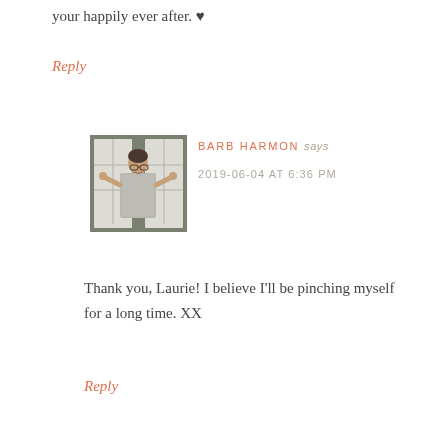your happily ever after. ♥
Reply
[Figure (photo): A woman in a silver/grey patterned dress standing in front of a white door with glass panes, arms raised to the sides.]
BARB HARMON says
2019-06-04 AT 6:36 PM
Thank you, Laurie! I believe I'll be pinching myself for a long time. XX
Reply